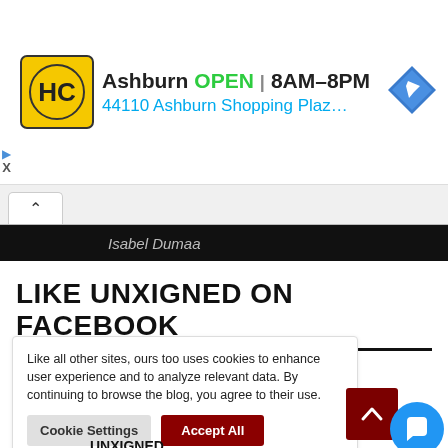[Figure (infographic): Advertisement banner for HC (Hairclub or similar) store in Ashburn. Shows HC logo in yellow, store name Ashburn, OPEN status, hours 8AM-8PM, address 44110 Ashburn Shopping Plaza 190, A..., and a blue navigation/directions diamond icon.]
Isabel Dumaa
LIKE UNXIGNED ON FACEBOOK
Like all other sites, ours too uses cookies to enhance user experience and to analyze relevant data. By continuing to browse the blog, you agree to their use.
Cookie Settings
Accept All
UNXIGNED